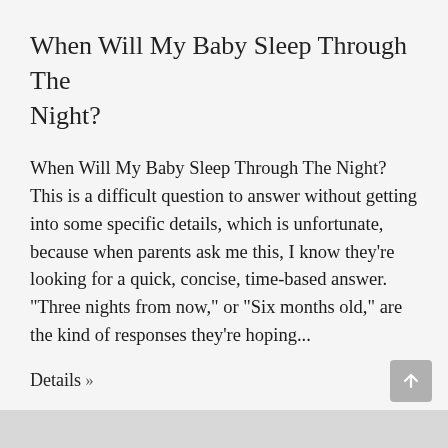When Will My Baby Sleep Through The Night?
When Will My Baby Sleep Through The Night? This is a difficult question to answer without getting into some specific details, which is unfortunate, because when parents ask me this, I know they're looking for a quick, concise, time-based answer. “Three nights from now,” or “Six months old,” are the kind of responses they're hoping...
Details »
November 26, 2019  /By J-Ray